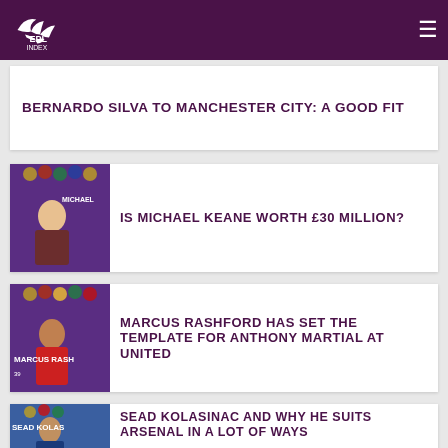EPL Index
BERNARDO SILVA TO MANCHESTER CITY: A GOOD FIT
[Figure (photo): Michael Keane player card thumbnail with purple EPL Index background]
IS MICHAEL KEANE WORTH £30 MILLION?
[Figure (photo): Marcus Rashford player card thumbnail with red Manchester United kit and purple EPL Index background]
MARCUS RASHFORD HAS SET THE TEMPLATE FOR ANTHONY MARTIAL AT UNITED
[Figure (photo): Sead Kolasinac player card thumbnail with blue kit]
SEAD KOLASINAC AND WHY HE SUITS ARSENAL IN A LOT OF WAYS